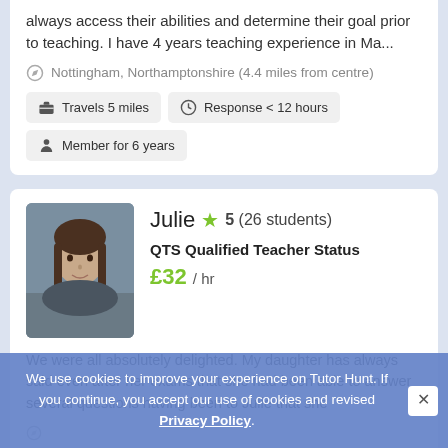always access their abilities and determine their goal prior to teaching. I have 4 years teaching experience in Ma...
Nottingham, Northamptonshire (4.4 miles from centre)
Travels 5 miles
Response < 12 hours
Member for 6 years
Julie ★ 5 (26 students)
QTS Qualified Teacher Status
£32 / hr
We were all absolutely delighted. My daughter has always said even after her exams that she had been able to answer several questions having been to Julie that she
We use cookies to improve your experience on Tutor Hunt. If you continue, you accept our use of cookies and revised Privacy Policy.